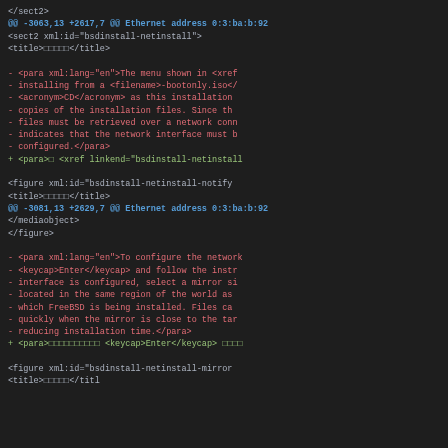Git diff output showing code changes to XML documentation files with context, removed lines (red), and added lines (green)